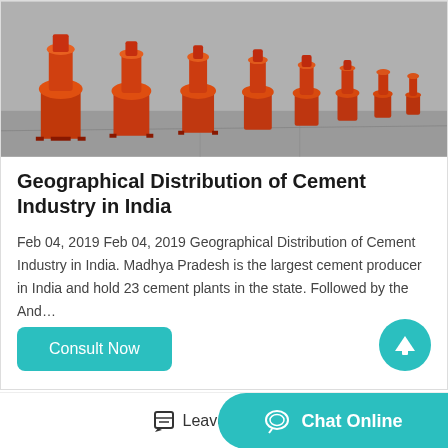[Figure (photo): Rows of orange industrial cement machines/crushers in a factory floor, shot in perspective. Multiple orange conical crushers lined up on a grey concrete floor.]
Geographical Distribution of Cement Industry in India
Feb 04, 2019 Feb 04, 2019 Geographical Distribution of Cement Industry in India. Madhya Pradesh is the largest cement producer in India and hold 23 cement plants in the state. Followed by the And…
Consult Now
Leave Message
Chat Online